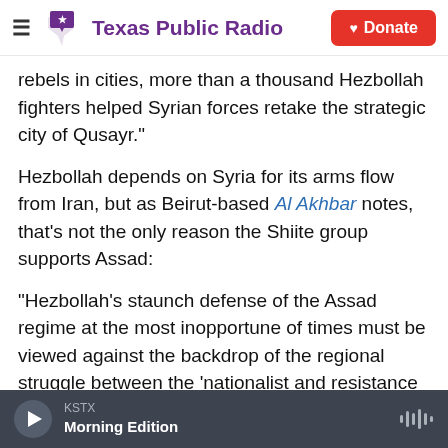Texas Public Radio | Donate
rebels in cities, more than a thousand Hezbollah fighters helped Syrian forces retake the strategic city of Qusayr."
Hezbollah depends on Syria for its arms flow from Iran, but as Beirut-based Al Akhbar notes, that's not the only reason the Shiite group supports Assad:
"Hezbollah's staunch defense of the Assad regime at the most inopportune of times must be viewed against the backdrop of the regional struggle between the 'nationalist and resistance project' led by Iran, Syria, Hezbollah and Hamas, otherwise known as the 'jabbit al mumana'a' ('resistance axis'
KSTX  Morning Edition